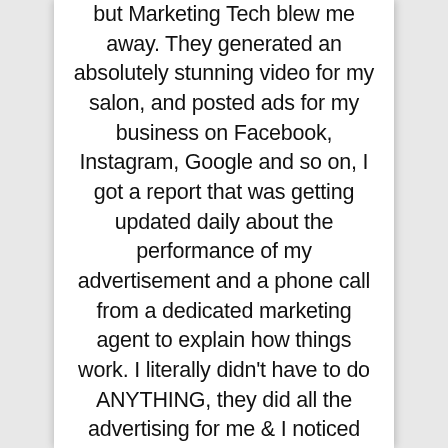but Marketing Tech blew me away. They generated an absolutely stunning video for my salon, and posted ads for my business on Facebook, Instagram, Google and so on, I got a report that was getting updated daily about the performance of my advertisement and a phone call from a dedicated marketing agent to explain how things work. I literally didn't have to do ANYTHING, they did all the advertising for me & I noticed and increase in business during the first week already. I'm running my local business ads with Marketing Tech for 4 months now and it's